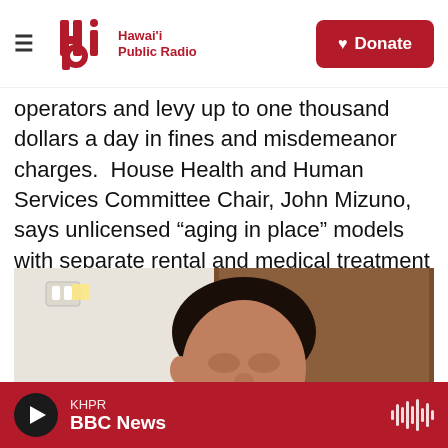Hawaii Public Radio | Donate
operators and levy up to one thousand dollars a day in fines and misdemeanor charges.  House Health and Human Services Committee Chair, John Mizuno, says unlicensed “aging in place” models with separate rental and medical treatment agreements are destroying the industry.
[Figure (photo): Photo of a man (John Mizuno) seen from the side/front, with a wood-paneled door and light-colored wall in the background. A light switch is visible on the wall.]
KHPR BBC News (audio player bar with play button and waveform)